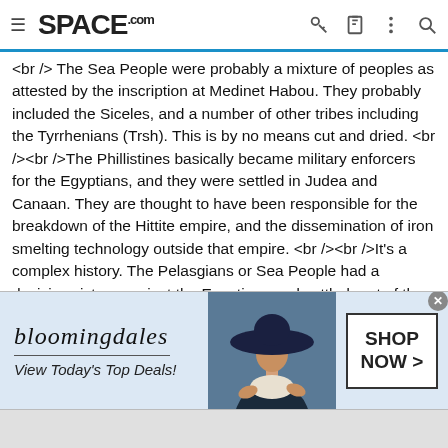SPACE.com
<br /> The Sea People were probably a mixture of peoples as attested by the inscription at Medinet Habou. They probably included the Siceles, and a number of other tribes including the Tyrrhenians (Trsh). This is by no means cut and dried. <br /><br />The Phillistines basically became military enforcers for the Egyptians, and they were settled in Judea and Canaan. They are thought to have been responsible for the breakdown of the Hittite empire, and the dissemination of iron smelting technology outside that empire. <br /><br />It's a complex history. The Pelasgians or Sea People had a decisive victory against the Egyptians and settled part of the Nile Delta until they were finally beaten back by Ramses III. <br /><br />The Phoenicians are believed to be a result of the Philistines and the Sea People who settled in part in Canaan.<br /><br />The Phoenician alphabet was the precursor of the Greek Alphabet, and the chronology is not entirely defined. The Euboean Greek alphabe
[Figure (photo): Bloomingdales advertisement banner with logo, tagline 'View Today's Top Deals!', woman in navy hat, and 'SHOP NOW >' button]